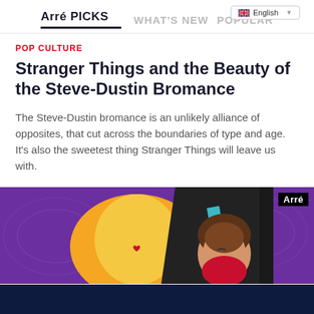Arré PICKS | WHAT'S NEW | POPULAR
POP CULTURE
Stranger Things and the Beauty of the Steve-Dustin Bromance
The Steve-Dustin bromance is an unlikely alliance of opposites, that cut across the boundaries of type and age. It's also the sweetest thing Stranger Things will leave us with.
[Figure (illustration): Colorful illustration with purple background showing two cartoon characters — one in yellow, one with brown hair — in an embrace. Arré logo in top right corner.]